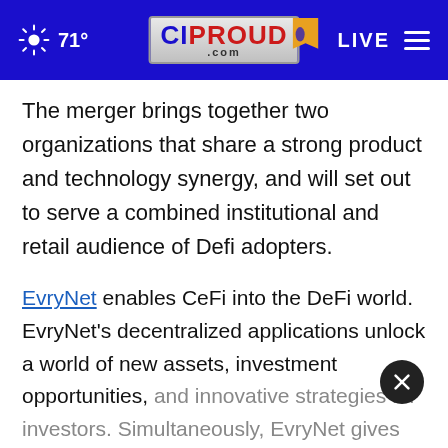71° CIProud.com LIVE
The merger brings together two organizations that share a strong product and technology synergy, and will set out to serve a combined institutional and retail audience of Defi adopters.
EvryNet enables CeFi into the DeFi world. EvryNet's decentralized applications unlock a world of new assets, investment opportunities, and innovative strategies for investors. Simultaneously, EvryNet gives DeFi projects